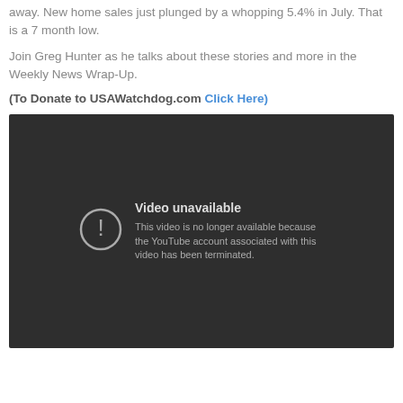away. New home sales just plunged by a whopping 5.4% in July. That is a 7 month low.
Join Greg Hunter as he talks about these stories and more in the Weekly News Wrap-Up.
(To Donate to USAWatchdog.com Click Here)
[Figure (screenshot): Embedded YouTube video player showing 'Video unavailable' message. Text reads: 'This video is no longer available because the YouTube account associated with this video has been terminated.']